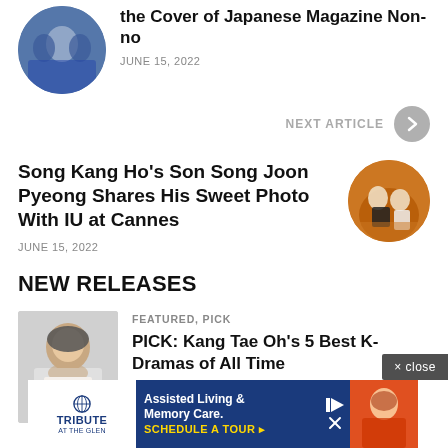[Figure (photo): Circular thumbnail photo of a group of women in blue outfits]
the Cover of Japanese Magazine Non-no
JUNE 15, 2022
NEXT ARTICLE
Song Kang Ho's Son Song Joon Pyeong Shares His Sweet Photo With IU at Cannes
JUNE 15, 2022
[Figure (photo): Circular thumbnail photo of a man in a tuxedo and a woman in white at Cannes]
NEW RELEASES
[Figure (photo): Rectangular photo of a man in a white top with short dark hair]
FEATURED, PICK
PICK: Kang Tae Oh's 5 Best K-Dramas of All Time
AUGUST 19, 2022
[Figure (photo): Advertisement banner for Tribute at the Glen - Assisted Living & Memory Care]
× close